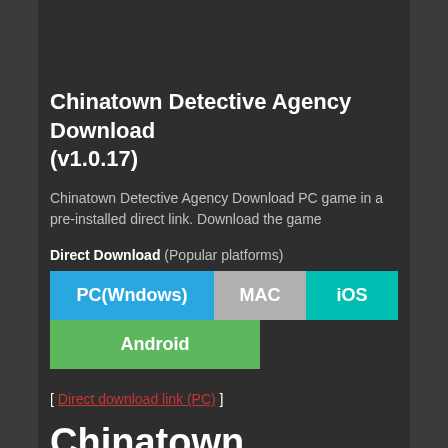Chinatown Detective Agency Download (v1.0.17)
Chinatown Detective Agency Download PC game in a pre-installed direct link. Download the game
Direct Download (Popular platforms)
PC(Wndows)   MAC   iOS   Android
[ Direct download link (PC) ]
Chinatown Detective Agency Download